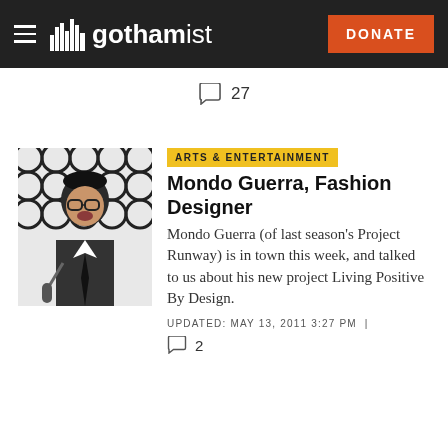gothamist | DONATE
27
[Figure (photo): Photo of Mondo Guerra, a young man with dark hair wearing glasses and a suit, appearing surprised, with a black and white patterned background]
ARTS & ENTERTAINMENT
Mondo Guerra, Fashion Designer
Mondo Guerra (of last season's Project Runway) is in town this week, and talked to us about his new project Living Positive By Design.
UPDATED: MAY 13, 2011 3:27 PM |
2